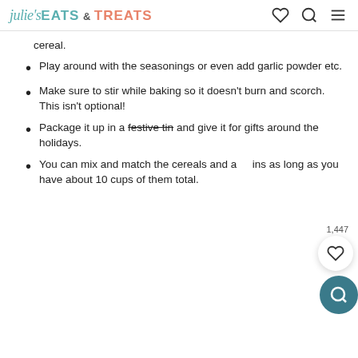julie's EATS & TREATS
cereal.
Play around with the seasonings or even add garlic powder etc.
Make sure to stir while baking so it doesn't burn and scorch. This isn't optional!
Package it up in a festive tin and give it for gifts around the holidays.
You can mix and match the cereals and add-ins as long as you have about 10 cups of them total.